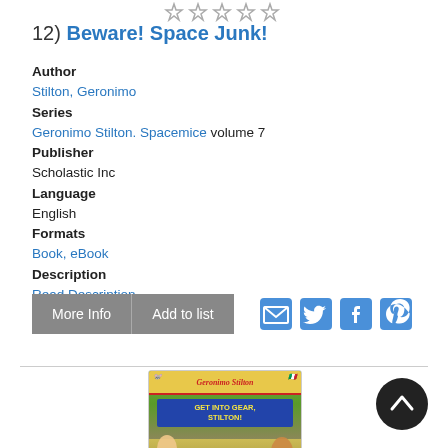[Figure (other): Five star rating icons (empty/outline stars) in a row]
12) Beware! Space Junk!
Author
Stilton, Geronimo
Series
Geronimo Stilton. Spacemice volume 7
Publisher
Scholastic Inc
Language
English
Formats
Book, eBook
Description
Read Description
[Figure (other): Buttons row: 'More Info' and 'Add to list' grey buttons, plus social share icons for email, Twitter, Facebook, Pinterest]
[Figure (illustration): Book cover for Geronimo Stilton 'Get Into Gear, Stilton!' showing animated mouse characters and a yellow car]
[Figure (other): Back to top button - dark circular button with upward arrow]